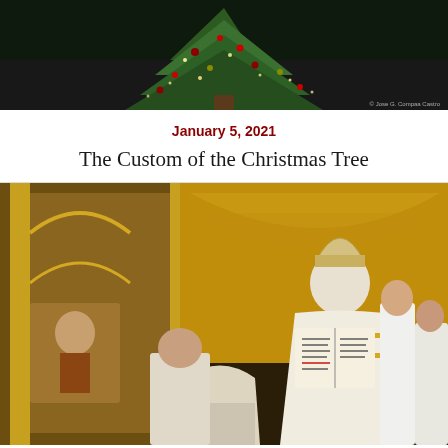[Figure (photo): Christmas tree in a church setting, dark background with green tree and lights visible]
January 5, 2021
The Custom of the Christmas Tree
[Figure (photo): Orthodox church ceremony showing a bishop in ornate white vestments and mitre holding an open book over the bowed head of a deacon or priest, with golden iconostasis and religious paintings visible in the background, attended by other clergy]